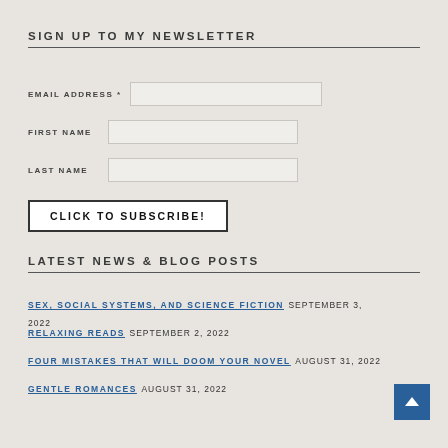SIGN UP TO MY NEWSLETTER
EMAIL ADDRESS *
FIRST NAME
LAST NAME
CLICK TO SUBSCRIBE!
LATEST NEWS & BLOG POSTS
SEX, SOCIAL SYSTEMS, AND SCIENCE FICTION  SEPTEMBER 3, 2022
RELAXING READS  SEPTEMBER 2, 2022
FOUR MISTAKES THAT WILL DOOM YOUR NOVEL  AUGUST 31, 2022
GENTLE ROMANCES  AUGUST 31, 2022